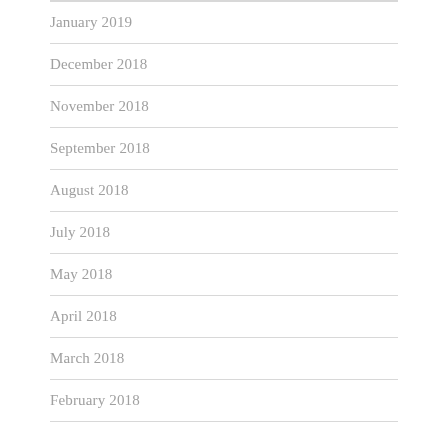January 2019
December 2018
November 2018
September 2018
August 2018
July 2018
May 2018
April 2018
March 2018
February 2018